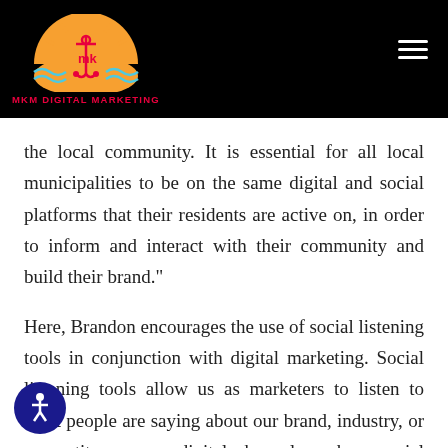[Figure (logo): MKM Digital Marketing logo — orange semicircle sunrise with anchor and waves, pink text 'MKM DIGITAL MARKETING' below, on black header background]
the local community. It is essential for all local municipalities to be on the same digital and social platforms that their residents are active on, in order to inform and interact with their community and build their brand."
Here, Brandon encourages the use of social listening tools in conjunction with digital marketing. Social listening tools allow us as marketers to listen to what people are saying about our brand, industry, or competitors across digital channels such as social media and the web. These tools offer us the necessary